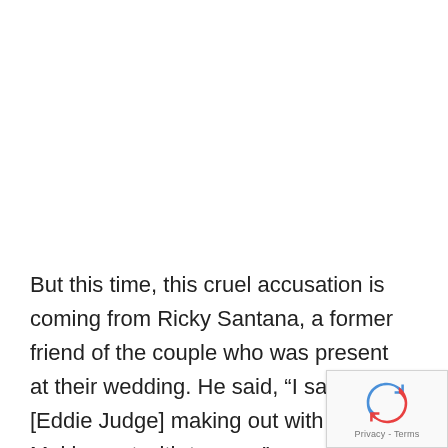But this time, this cruel accusation is coming from Ricky Santana, a former friend of the couple who was present at their wedding. He said, “I saw him [Eddie Judge] making out with a guy. Making out with tongue.”